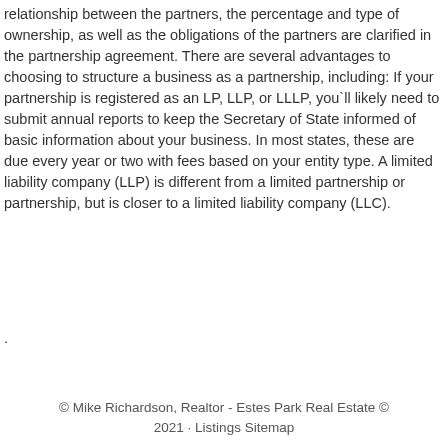relationship between the partners, the percentage and type of ownership, as well as the obligations of the partners are clarified in the partnership agreement. There are several advantages to choosing to structure a business as a partnership, including: If your partnership is registered as an LP, LLP, or LLLP, you`ll likely need to submit annual reports to keep the Secretary of State informed of basic information about your business. In most states, these are due every year or two with fees based on your entity type. A limited liability company (LLP) is different from a limited partnership or partnership, but is closer to a limited liability company (LLC).
.
© Mike Richardson, Realtor - Estes Park Real Estate © 2021 · Listings Sitemap